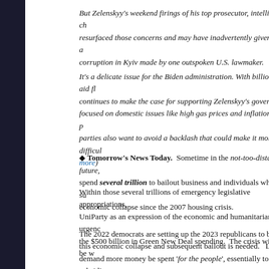But Zelenskyy's weekend firings of his top prosecutor, intelligence ch... resurfaced those concerns and may have inadvertently given fresh a... corruption in Kyiv made by one outspoken U.S. lawmaker.
It's a delicate issue for the Biden administration. With billions in aid fl... continues to make the case for supporting Zelenskyy's government t... focused on domestic issues like high gas prices and inflation. High-p... parties also want to avoid a backlash that could make it more difficul... more)
◆ Tomorrow's News Today. Sometime in the not-too-distant future, ... spend several trillion to bailout business and individuals who will su... economic collapse since the 2007 housing crisis.
Within those several trillions of emergency legislative appropriations,... UniParty as an expression of the economic and humanitarian urgenc... the $500 billion in Green New Deal spending. The crisis will not be w...
The 2022 democrats are setting up the 2023 republicans to be the p... this economic collapse and subsequent bailout is needed. Lucy wit... demand more money be spent 'for the people', essentially to subsidizi... crisis they have fueled for the past two years.